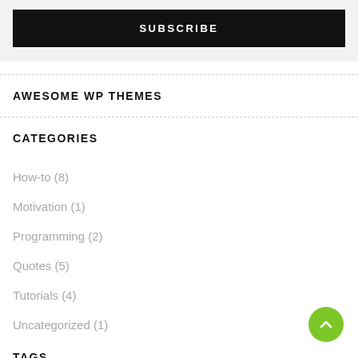SUBSCRIBE
AWESOME WP THEMES
CATEGORIES
How-to (8)
Motivation (1)
Programming (2)
Quotes (5)
Tutorials (4)
Uncategorized (1)
TAGS